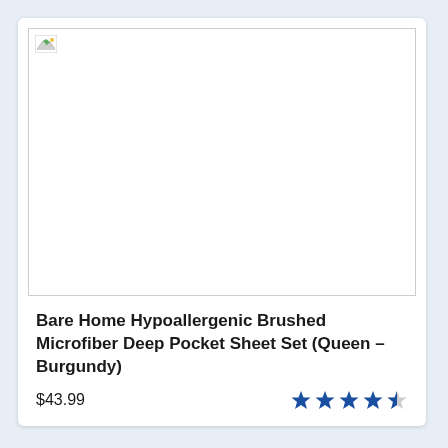[Figure (photo): Product image placeholder (broken image icon) for a sheet set product]
Bare Home Hypoallergenic Brushed Microfiber Deep Pocket Sheet Set (Queen – Burgundy)
$43.99
[Figure (other): 4.5 out of 5 stars rating (4 full stars and 1 half star in blue)]